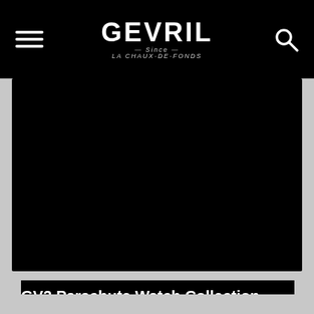GEVRIL LA CHAUX-DE-FONDS
[Figure (photo): Large dark/black image area showing GV2 Parachute Watch Collection promotional content]
GV2 Parachute Watch Collection
by Adrian Herscovici For Adventure Seekers and Free Fallers The Parachute collection by GV2 is one of the most audacious in the brand's lineup of